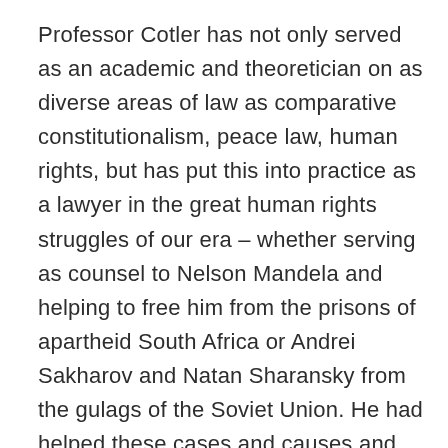Professor Cotler has not only served as an academic and theoretician on as diverse areas of law as comparative constitutionalism, peace law, human rights, but has put this into practice as a lawyer in the great human rights struggles of our era – whether serving as counsel to Nelson Mandela and helping to free him from the prisons of apartheid South Africa or Andrei Sakharov and Natan Sharansky from the gulags of the Soviet Union. He had helped these cases and causes and then later went on to a career as a long-time parliamentarian and Minister of Justice and Attorney General in Canada, where he uses his platform to make the pursuit of international justice